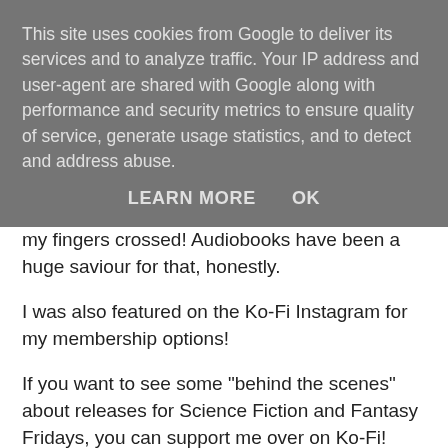This site uses cookies from Google to deliver its services and to analyze traffic. Your IP address and user-agent are shared with Google along with performance and security metrics to ensure quality of service, generate usage statistics, and to detect and address abuse.
LEARN MORE    OK
never not read 100 books in a year so I'll keep my fingers crossed! Audiobooks have been a huge saviour for that, honestly.
I was also featured on the Ko-Fi Instagram for my membership options!
If you want to see some "behind the scenes" about releases for Science Fiction and Fantasy Fridays, you can support me over on Ko-Fi!
How's everyone holding up?